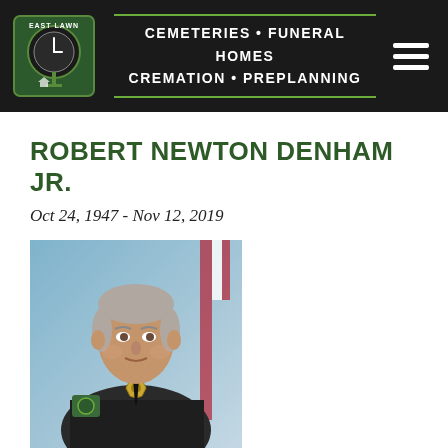EAST LAWN — CEMETERIES · FUNERAL HOMES CREMATION · PREPLANNING
ROBERT NEWTON DENHAM JR.
Oct 24, 1947 - Nov 12, 2019
[Figure (photo): Portrait photo of Robert Newton Denham Jr. in a dark law enforcement uniform with a badge and shoulder patch, American flag visible in background, blue backdrop.]